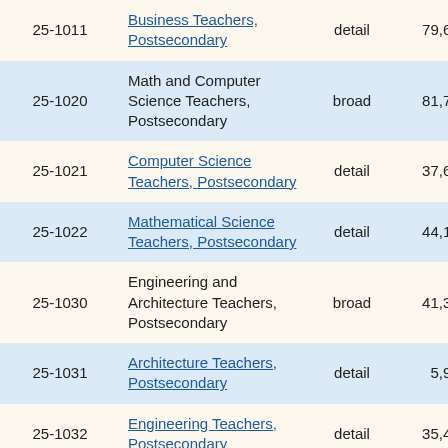| Code | Occupation | Level | Employment |  |
| --- | --- | --- | --- | --- |
| 25-1011 | Business Teachers, Postsecondary | detail | 79,630 | 0 |
| 25-1020 | Math and Computer Science Teachers, Postsecondary | broad | 81,730 | 0 |
| 25-1021 | Computer Science Teachers, Postsecondary | detail | 37,600 | 0 |
| 25-1022 | Mathematical Science Teachers, Postsecondary | detail | 44,120 | 0 |
| 25-1030 | Engineering and Architecture Teachers, Postsecondary | broad | 41,380 | 0 |
| 25-1031 | Architecture Teachers, Postsecondary | detail | 5,950 | 1 |
| 25-1032 | Engineering Teachers, Postsecondary | detail | 35,430 | 0 |
| 25-1040 | Life Sciences Teachers, Postsecondary | broad | 55,750 | 0 |